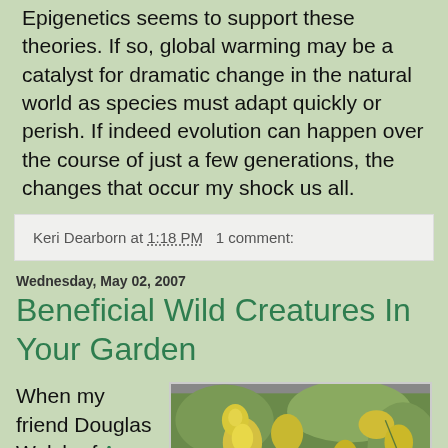Epigenetics seems to support these theories. If so, global warming may be a catalyst for dramatic change in the natural world as species must adapt quickly or perish. If indeed evolution can happen over the course of just a few generations, the changes that occur my shock us all.
Keri Dearborn at 1:18 PM   1 comment:
Wednesday, May 02, 2007
Beneficial Wild Creatures In Your Garden
When my friend Douglas Welch of A
[Figure (photo): Close-up photo of a large dark bee (possibly a carpenter bee) on yellow flowers with green leaves in the background]